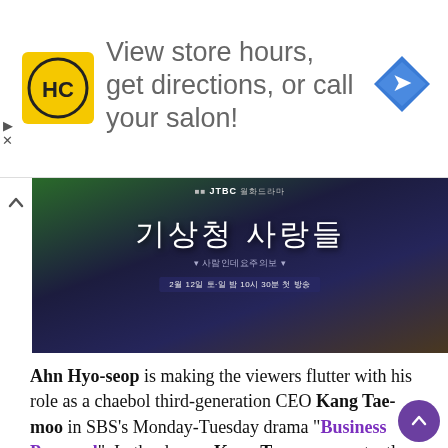[Figure (infographic): Advertisement banner for HC (Hair Club or similar) salon: yellow logo with HC letters, text 'View store hours, get directions, or call your salon!', blue diamond navigation icon on right. Play and close icons on left side.]
[Figure (photo): Korean drama promotional image showing a person in a dark jacket with a backpack, with Korean text overlay reading the drama title and broadcast schedule. JTBC branding visible.]
Ahn Hyo-seop is making the viewers flutter with his role as a chaebol third-generation CEO Kang Tae-moo in SBS's Monday-Tuesday drama "Business Proposal". In the drama, Kang Tae-moo constantly confessed his feelings without giving up even when Shin Ha-ri (Kim Se-jeong), a female employee in his company, pushed him away because she thought an ordinary person like her did not match with a chaebol like him. When Shin Ha-ri was put in an awkward situation where she had to introduce her